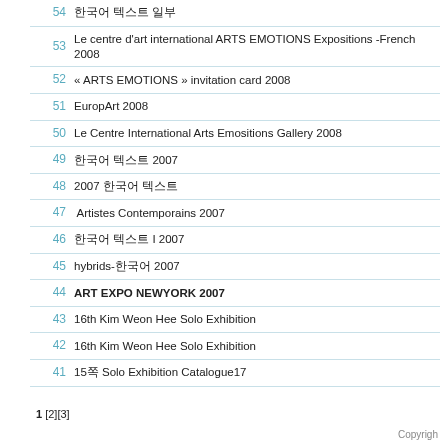| # | Title |
| --- | --- |
| 54 | 한국어 텍스트 일부 |
| 53 | Le centre d'art international ARTS EMOTIONS Expositions -French 2008 |
| 52 | « ARTS EMOTIONS » invitation card 2008 |
| 51 | EuropArt 2008 |
| 50 | Le Centre International Arts Emositions Gallery 2008 |
| 49 | 한국어 텍스트 2007 |
| 48 | 2007 한국어 텍스트 |
| 47 | Artistes Contemporains 2007 |
| 46 | 한국어 텍스트 I 2007 |
| 45 | hybrids-한국어 2007 |
| 44 | ART EXPO NEWYORK 2007 |
| 43 | 16th Kim Weon Hee Solo Exhibition |
| 42 | 16th Kim Weon Hee Solo Exhibition |
| 41 | 15쪽 Solo Exhibition Catalogue17 |
1 [2][3]
Copyrigh